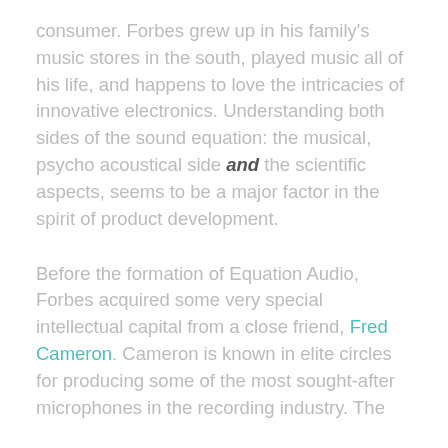consumer. Forbes grew up in his family's music stores in the south, played music all of his life, and happens to love the intricacies of innovative electronics. Understanding both sides of the sound equation: the musical, psycho acoustical side and the scientific aspects, seems to be a major factor in the spirit of product development.
Before the formation of Equation Audio, Forbes acquired some very special intellectual capital from a close friend, Fred Cameron. Cameron is known in elite circles for producing some of the most sought-after microphones in the recording industry. The